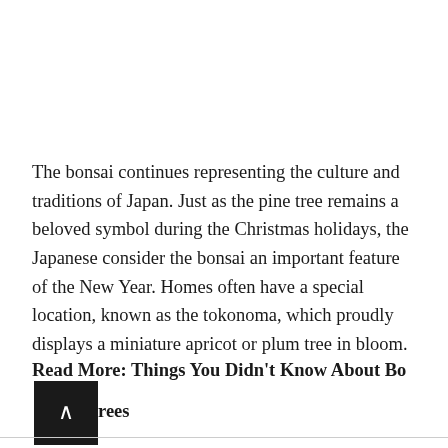The bonsai continues representing the culture and traditions of Japan. Just as the pine tree remains a beloved symbol during the Christmas holidays, the Japanese consider the bonsai an important feature of the New Year. Homes often have a special location, known as the tokonoma, which proudly displays a miniature apricot or plum tree in bloom.
Read More: Things You Didn't Know About Bonsai Trees